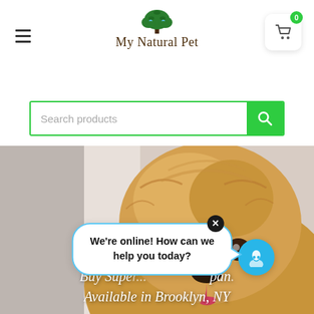[Figure (logo): My Natural Pet logo with tree illustration above the text]
[Figure (screenshot): Shopping cart icon with 0 badge in white rounded box]
[Figure (screenshot): Search products input field with green search button]
[Figure (photo): Close-up photo of a golden retriever dog looking down]
We're online! How can we help you today?
Buy Super... Available in Brooklyn, NY